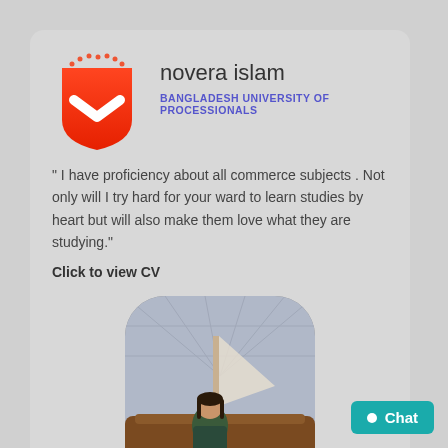[Figure (logo): Angular-style red shield logo with white chevron and red dot crown on top]
novera islam
BANGLADESH UNIVERSITY OF PROCESSIONALS
" I have proficiency about all commerce subjects . Not only will I try hard for your ward to learn studies by heart but will also make them love what they are studying."
Click to view CV
[Figure (photo): Young woman sitting next to a wooden boat inside a large glass dome building]
Chat